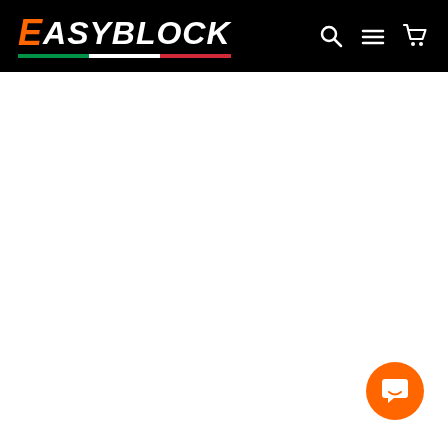[Figure (logo): EasyBlock website navigation bar with logo on black background. Logo shows 'E' in orange and 'ASYBLOCK' in white bold italic text, with Italian flag stripe (green, white, red) below. Right side shows search, menu, and cart icons in white.]
[Figure (other): Orange circular chat/support button with white speech bubble icon, positioned at bottom-right corner of page.]